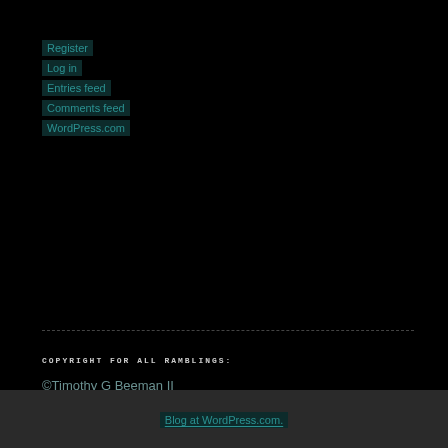Register
Log in
Entries feed
Comments feed
WordPress.com
COPYRIGHT FOR ALL RAMBLINGS:
©Timothy G Beeman II
Blog at WordPress.com.